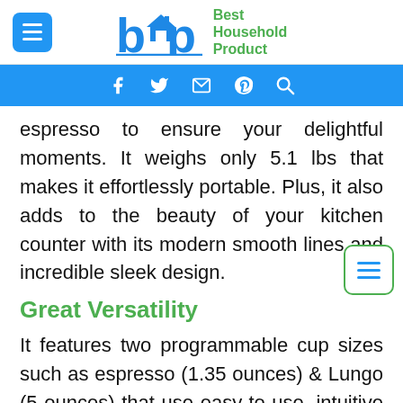bhp Best Household Product
[Figure (other): Blue navigation bar with social icons: Facebook, Twitter, Email, Pinterest, Search]
espresso to ensure your delightful moments. It weighs only 5.1 lbs that makes it effortlessly portable. Plus, it also adds to the beauty of your kitchen counter with its modern smooth lines and incredible sleek design.
Great Versatility
It features two programmable cup sizes such as espresso (1.35 ounces) & Lungo (5 ounces) that use easy-to-use, intuitive buttons. So you get the chance to quench your single-serve coffee thirst most conveniently. You can also pour over some ice